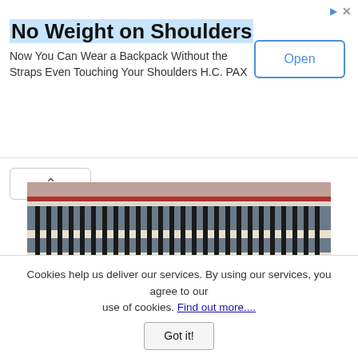No Weight on Shoulders
Now You Can Wear a Backpack Without the Straps Even Touching Your Shoulders H.C. PAX
Open
[Figure (photo): Balcony with black and white decorative balusters and red trim railing on a house exterior]
[Figure (photo): Victorian porch with ornate white gingerbread trim, columns, and a yellow/cream exterior]
VintageWoodworks.com
Thousands of Porch Parts and Free Consultation!
Cookies help us deliver our services. By using our services, you agree to our use of cookies. Find out more....
Got it!